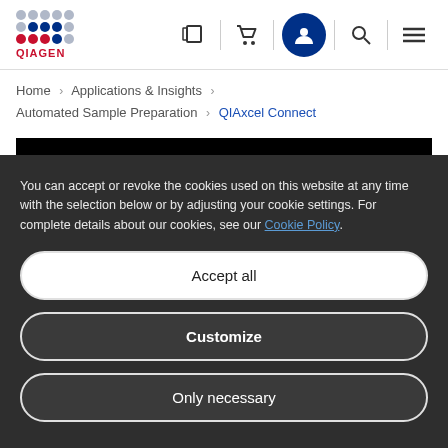[Figure (logo): QIAGEN logo with dot grid and brand name in red]
Home > Applications & Insights > Automated Sample Preparation > QIAxcel Connect
[Figure (photo): Black product image area]
You can accept or revoke the cookies used on this website at any time with the selection below or by adjusting your cookie settings. For complete details about our cookies, see our Cookie Policy.
Accept all
Customize
Only necessary